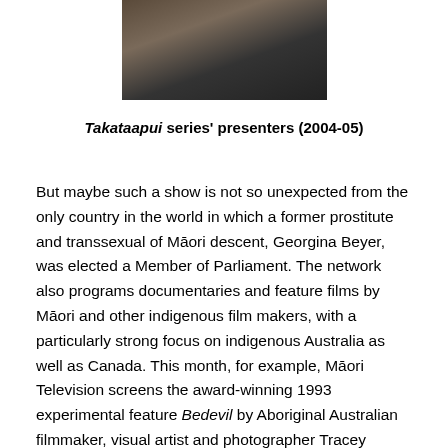[Figure (photo): Partial photograph of two people, only lower portion visible, cropped at top of page]
Takataapui series' presenters (2004-05)
But maybe such a show is not so unexpected from the only country in the world in which a former prostitute and transsexual of Māori descent, Georgina Beyer, was elected a Member of Parliament. The network also programs documentaries and feature films by Māori and other indigenous film makers, with a particularly strong focus on indigenous Australia as well as Canada. This month, for example, Māori Television screens the award-winning 1993 experimental feature Bedevil by Aboriginal Australian filmmaker, visual artist and photographer Tracey Moffatt. The the celebrated Canadian Aboriginal animated children's show, Tipi Tales, has been reversioned into te rea Māori (Māori